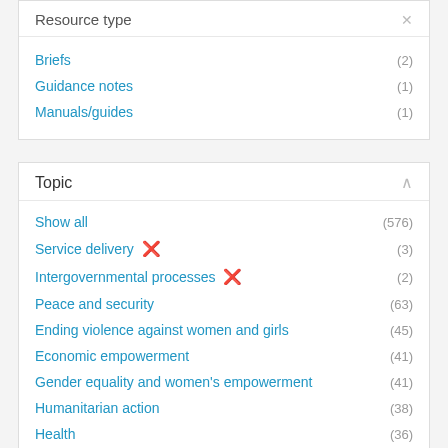Resource type
Briefs (2)
Guidance notes (1)
Manuals/guides (1)
Topic
Show all (576)
Service delivery ✕ (3)
Intergovernmental processes ✕ (2)
Peace and security (63)
Ending violence against women and girls (45)
Economic empowerment (41)
Gender equality and women's empowerment (41)
Humanitarian action (38)
Health (36)
COVID-19 (34)